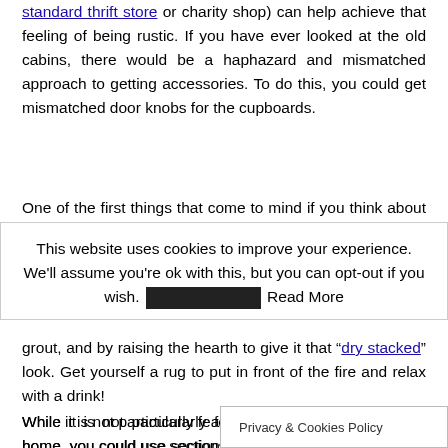standard thrift store or charity shop) can help achieve that feeling of being rustic. If you have ever looked at the old cabins, there would be a haphazard and mismatched approach to getting accessories. To do this, you could get mismatched door knobs for the cupboards.
One of the first things that come to mind if you think about a
This website uses cookies to improve your experience. We'll assume you're ok with this, but you can opt-out if you wish. [redacted] Read More
grout, and by raising the hearth to give it that "dry stacked" look. Get yourself a rug to put in front of the fire and relax with a drink!
While it is not particularly feasible to rebuild your entire home, you could use sections of your home to give off that log cabin or... plywood panels or buying firewood an... ve that you are with the
Privacy & Cookies Policy